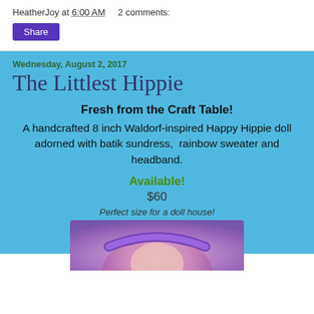HeatherJoy at 6:00 AM    2 comments:
Share
Wednesday, August 2, 2017
The Littlest Hippie
Fresh from the Craft Table!
A handcrafted 8 inch Waldorf-inspired Happy Hippie doll adorned with batik sundress,  rainbow sweater and headband.
Available!
$60
Perfect size for a doll house!
[Figure (photo): Close-up photo of a handcrafted Waldorf-inspired Happy Hippie doll showing the doll's head with a purple/violet headband and colorful hair]